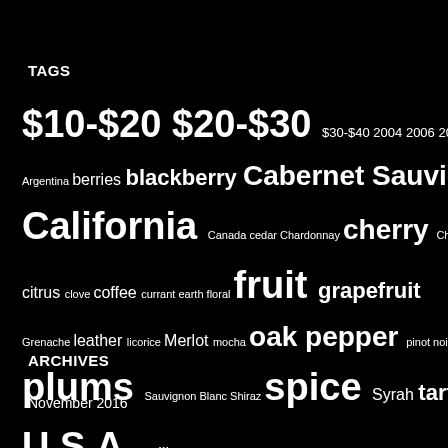TAGS
$10-$20 $20-$30 $30-$40 2004 2006 2009 2012 2013 Argentina berries blackberry Cabernet Sauvignon California Canada cedar Chardonnay cherry Chile chocolate citrus clove coffee currant earth floral fruit grapefruit Grenache leather licorice Merlot mocha oak pepper pinot noir plums Sauvignon Blanc Shiraz spice Syrah tart toast tobacco U.S.A vanilla
ARCHIVES
November 2016